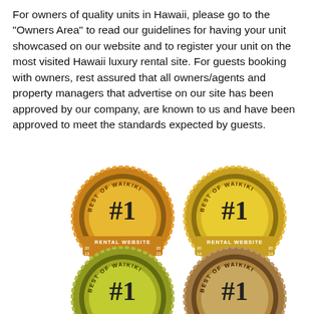For owners of quality units in Hawaii, please go to the "Owners Area" to read our guidelines for having your unit showcased on our website and to register your unit on the most visited Hawaii luxury rental site. For guests booking with owners, rest assured that all owners/agents and property managers that advertise on our site has been approved by our company, are known to us and have been approved to meet the standards expected by guests.
[Figure (illustration): Four circular badge/seal awards for Best of Waikiki #1 Rental Website Voted, in gold/bronze/olive colors for different years (2013, 2014, 2015, 2016), plus two partially visible badges at the bottom.]